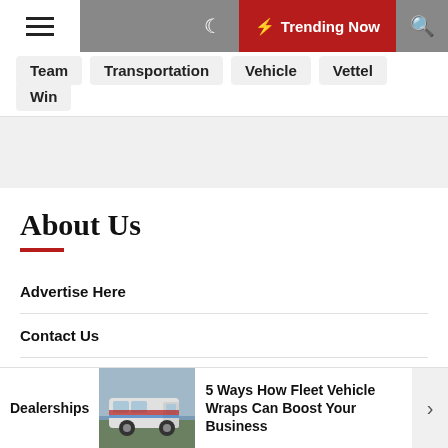Trending Now
Team
Transportation
Vehicle
Vettel
Win
About Us
Advertise Here
Contact Us
Privacy Policy
Sitemap
Dealerships
[Figure (photo): A van with fleet vehicle wrap branding]
5 Ways How Fleet Vehicle Wraps Can Boost Your Business